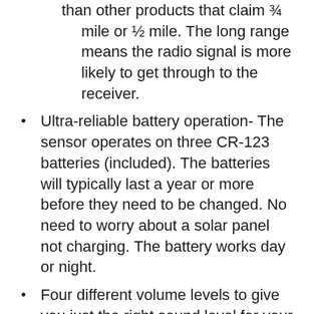than other products that claim ¾ mile or ½ mile. The long range means the radio signal is more likely to get through to the receiver.
Ultra-reliable battery operation- The sensor operates on three CR-123 batteries (included). The batteries will typically last a year or more before they need to be changed. No need to worry about a solar panel not charging. The battery works day or night.
Four different volume levels to give you just the right sound level for your application.
Operating Temperature Range: -30°F to 120°F